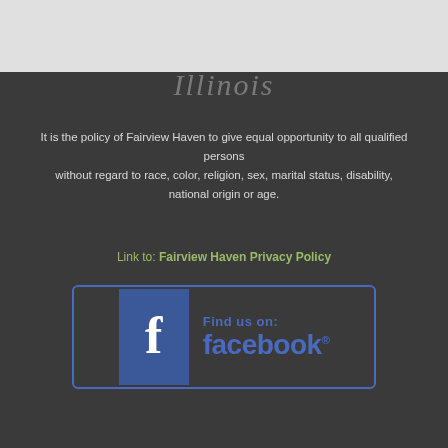[Figure (logo): Fairview Haven logo — white box with cursive blue and green text]
Leading Illinois
It is the policy of Fairview Haven to give equal opportunity to all qualified persons without regard to race, color, religion, sex, marital status, disability, national origin or age.
Link to: Fairview Haven Privacy Policy
[Figure (logo): Find us on Facebook button — blue bordered box with Facebook icon and text 'Find us on: facebook']